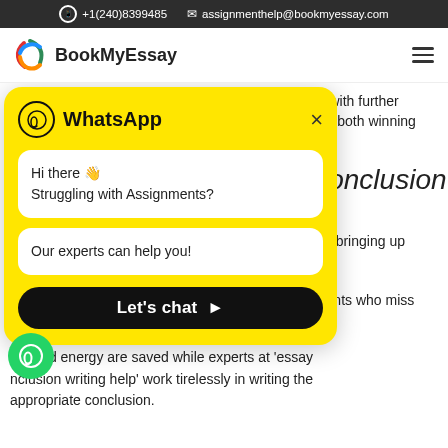+1(240)8399485   assignmenthelp@bookmyessay.com
[Figure (logo): BookMyEssay logo with colorful circular swoosh icon and brand name]
[Figure (screenshot): WhatsApp chat popup overlay with yellow background. Header shows WhatsApp icon and title. Two white bubbles: 'Hi there 👋 Struggling with Assignments?' and 'Our experts can help you!'. Black 'Let's chat >' button at bottom.]
ng with further
e of both winning
Conclusion
k in bringing up
udents who miss
serious information on topics suggested.
me and energy are saved while experts at 'essay conclusion writing help' work tirelessly in writing the appropriate conclusion.
[Figure (logo): Green WhatsApp floating button in bottom left corner]